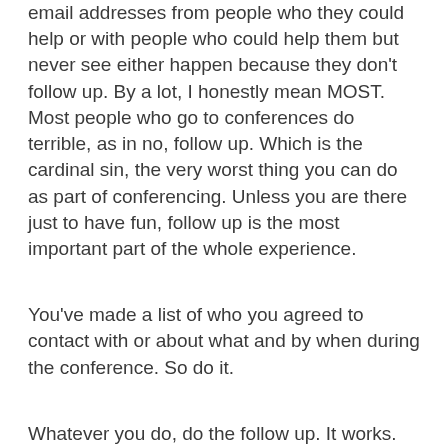email addresses from people who they could help or with people who could help them but never see either happen because they don't follow up.  By a lot, I honestly mean MOST.  Most people who go to conferences do terrible, as in no, follow up.  Which is the cardinal sin, the very worst thing you can do as part of conferencing.  Unless you are there just to have fun, follow up is the most important part of the whole experience.
You've made a list of who you agreed to contact with or about what and by when during the conference.  So do it.
Whatever you do, do the follow up.  It works.  It's the thing that works to make a conference a genuine career building strategy.
Conference Strategies - Part 2